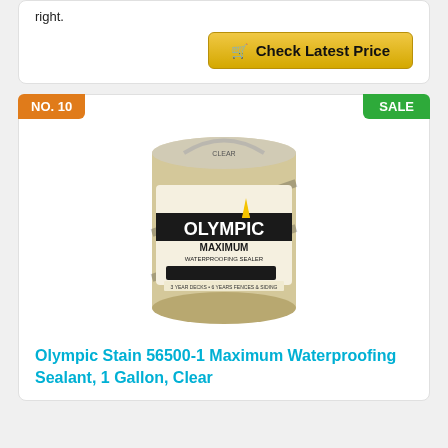right.
Check Latest Price
NO. 10
SALE
[Figure (photo): Olympic Maximum Waterproofing Sealer 1 gallon can with black and cream label showing the Olympic brand logo with flame, 'MAXIMUM WATERPROOFING SEALER' text, and multiple application icons.]
Olympic Stain 56500-1 Maximum Waterproofing Sealant, 1 Gallon, Clear